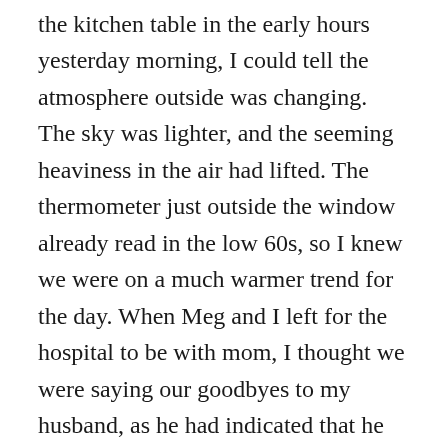the kitchen table in the early hours yesterday morning, I could tell the atmosphere outside was changing. The sky was lighter, and the seeming heaviness in the air had lifted. The thermometer just outside the window already read in the low 60s, so I knew we were on a much warmer trend for the day. When Meg and I left for the hospital to be with mom, I thought we were saying our goodbyes to my husband, as he had indicated that he was heading straight home from the house. My brother-in-love and nephews were planning to stop by to say goodbye to mom before heading out of town, so we knew we would see them on their way out. To my surprise, all